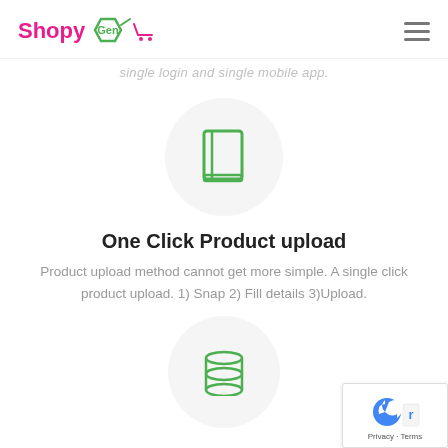ShopyGen
single login and single mobile app.
[Figure (illustration): A green book/notebook icon inside a light gray circle]
One Click Product upload
Product upload method cannot get more simple. A single click product upload. 1) Snap 2) Fill details 3)Upload.
[Figure (illustration): A green database/stack icon inside a light gray circle (partially visible at bottom)]
[Figure (logo): Google reCAPTCHA badge in bottom right corner]